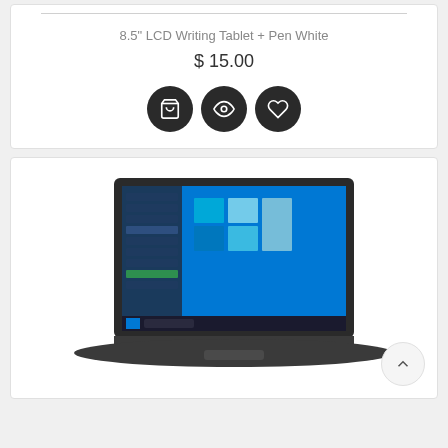8.5" LCD Writing Tablet + Pen White
$ 15.00
[Figure (screenshot): Three dark circular action buttons: shopping cart, eye/view, and heart/wishlist icons]
[Figure (photo): Laptop computer showing Windows 10 desktop on screen, viewed at an angle from lower-left, dark grey chassis]